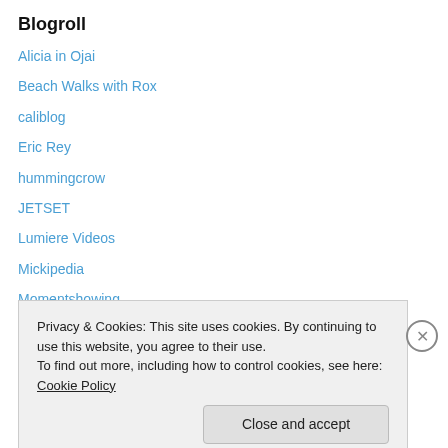Blogroll
Alicia in Ojai
Beach Walks with Rox
caliblog
Eric Rey
hummingcrow
JETSET
Lumiere Videos
Mickipedia
Momentshowing
Nanoramas
Noodle Scar
Rick Rey
Privacy & Cookies: This site uses cookies. By continuing to use this website, you agree to their use.
To find out more, including how to control cookies, see here: Cookie Policy
Close and accept